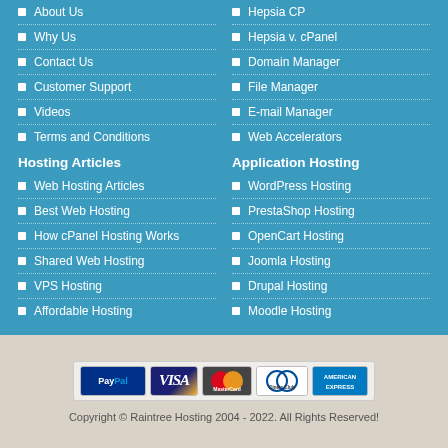About Us
Hepsia CP
Why Us
Hepsia v. cPanel
Contact Us
Domain Manager
Customer Support
File Manager
Videos
E-mail Manager
Terms and Conditions
Web Accelerators
Hosting Articles
Application Hosting
Web Hosting Articles
WordPress Hosting
Best Web Hosting
PrestaShop Hosting
How cPanel Hosting Works
OpenCart Hosting
Shared Web Hosting
Joomla Hosting
VPS Hosting
Drupal Hosting
Affordable Hosting
Moodle Hosting
[Figure (infographic): Payment method logos: PayPal, VISA, MasterCard, Diners Club, American Express]
Copyright © Raintree Hosting 2004 - 2022. All Rights Reserved!